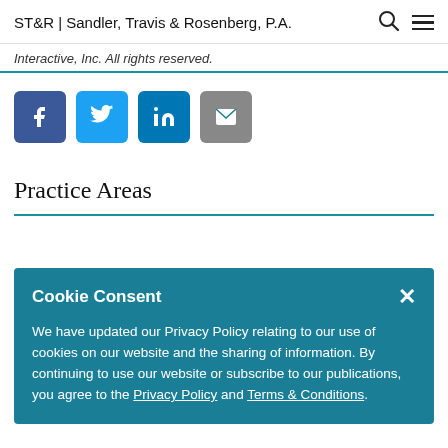ST&R | Sandler, Travis & Rosenberg, P.A.
Interactive, Inc. All rights reserved.
[Figure (infographic): Four social media share buttons: Facebook (blue), Twitter (light blue), LinkedIn (dark blue), Email (gray)]
Practice Areas
Cookie Consent
We have updated our Privacy Policy relating to our use of cookies on our website and the sharing of information. By continuing to use our website or subscribe to our publications, you agree to the Privacy Policy and Terms & Conditions.